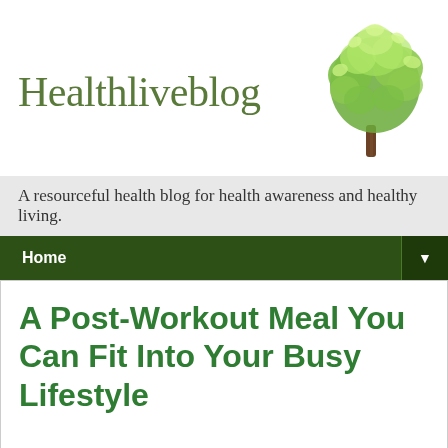Healthliveblog
[Figure (illustration): Green tree logo with leafy canopy and brown trunk, representing the Healthliveblog brand]
A resourceful health blog for health awareness and healthy living.
Home
A Post-Workout Meal You Can Fit Into Your Busy Lifestyle